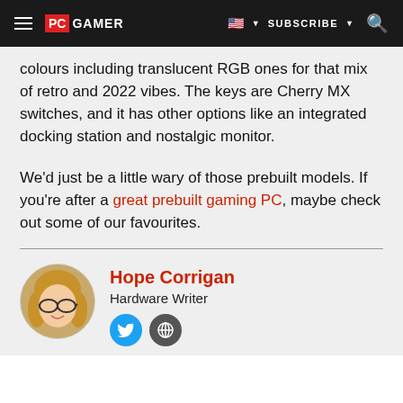PC GAMER | SUBSCRIBE
colours including translucent RGB ones for that mix of retro and 2022 vibes. The keys are Cherry MX switches, and it has other options like an integrated docking station and nostalgic monitor.
We'd just be a little wary of those prebuilt models. If you're after a great prebuilt gaming PC, maybe check out some of our favourites.
Hope Corrigan
Hardware Writer